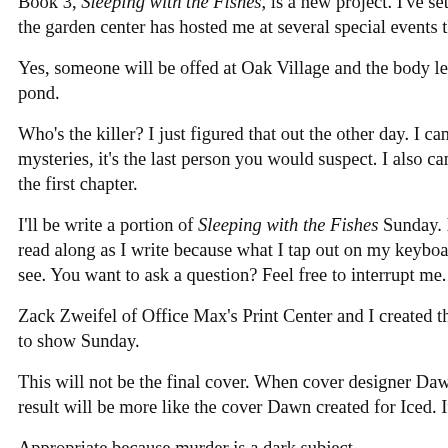Book 3, Sleeping with the Fishes, is a new project. I've set this stor the garden center has hosted me at several special events this year.
Yes, someone will be offed at Oak Village and the body left floating pond.
Who's the killer? I just figured that out the other day. I can tell you mysteries, it's the last person you would suspect. I also can tell you in the first chapter.
I'll be write a portion of Sleeping with the Fishes Sunday. If you co read along as I write because what I tap out on my keyboard will be see. You want to ask a question? Feel free to interrupt me.
Zack Zweifel of Office Max's Print Center and I created the cover y to show Sunday.
This will not be the final cover. When cover designer Dawn Charles result will be more like the cover Dawn created for Iced. It will hav
Appropriate because murder is a dark subject.
Meet John Wads
Making the conversation interesting in terms of excellence. John